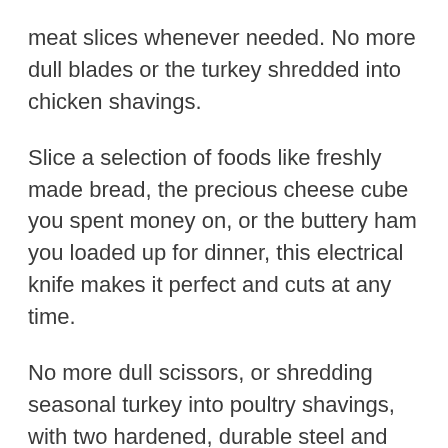meat slices whenever needed. No more dull blades or the turkey shredded into chicken shavings.
Slice a selection of foods like freshly made bread, the precious cheese cube you spent money on, or the buttery ham you loaded up for dinner, this electrical knife makes it perfect and cuts at any time.
No more dull scissors, or shredding seasonal turkey into poultry shavings, with two hardened, durable steel and sleek construction, this can cut precision to the limit.